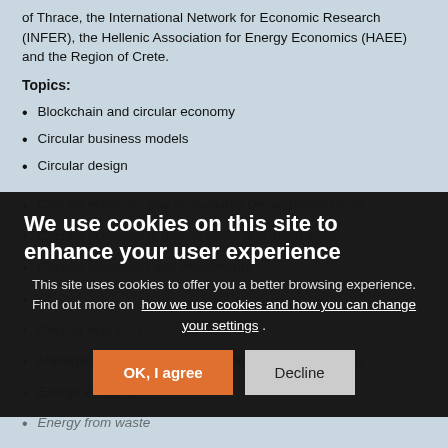of Thrace, the International Network for Economic Research (INFER), the Hellenic Association for Energy Economics (HAEE) and the Region of Crete.
Topics:
Blockchain and circular economy
Circular business models
Circular design
Circular economy and Sustainable Development Goals
Circular economy at macro, meso and micro level
Circular innovation and investments
Circular ...
Circular economy ...
Management education for circularity and sustainability
Energy efficiency
Energy from waste
We use cookies on this site to enhance your user experience

This site uses cookies to offer you a better browsing experience. Find out more on how we use cookies and how you can change your settings.
OK, I agree
Decline